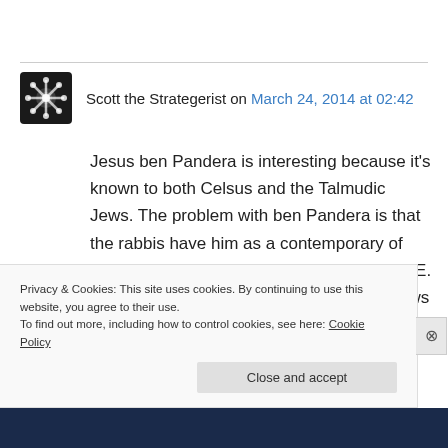Scott the Strategerist on March 24, 2014 at 02:42
Jesus ben Pandera is interesting because it's known to both Celsus and the Talmudic Jews. The problem with ben Pandera is that the rabbis have him as a contemporary of Alexander Jannaeus, who died circa 88 BCE. I think the answer is most likely that the Jews never heard of Jesus of Nazareth, but found some points of
Privacy & Cookies: This site uses cookies. By continuing to use this website, you agree to their use.
To find out more, including how to control cookies, see here: Cookie Policy
Close and accept